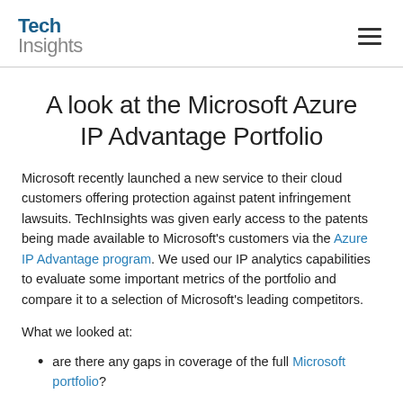TechInsights
A look at the Microsoft Azure IP Advantage Portfolio
Microsoft recently launched a new service to their cloud customers offering protection against patent infringement lawsuits. TechInsights was given early access to the patents being made available to Microsoft's customers via the Azure IP Advantage program. We used our IP analytics capabilities to evaluate some important metrics of the portfolio and compare it to a selection of Microsoft's leading competitors.
What we looked at:
are there any gaps in coverage of the full Microsoft portfolio?